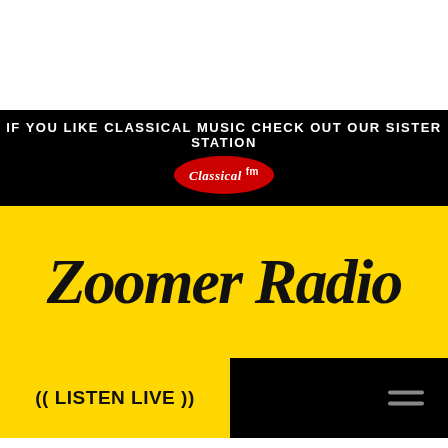[Figure (logo): White top area above the black banner]
IF YOU LIKE CLASSICAL MUSIC CHECK OUT OUR SISTER STATION
[Figure (logo): Classical FM logo in red oval]
Zoomer Radio
((LISTEN LIVE))
Home > Blogs > This Week on From a Woman's Persp